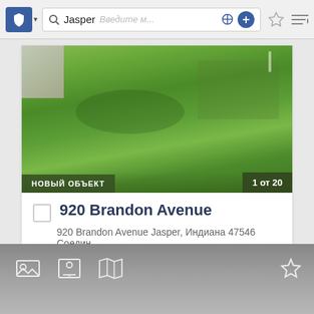Jasper — Введите м...
[Figure (photo): Exterior photo of a residential property showing a green lawn with a sidewalk. Overlaid text badges: 'НОВЫЙ ОБЪЕКТ' (bottom left) and '1 от 20' (bottom right).]
920 Brandon Avenue
920 Brandon Avenue Jasper, Индиана 47546 Соедин...
3 🛏 3 🚿 2,954 ⊡ $279,000
[Figure (screenshot): Bottom navigation tab bar with icons: photo gallery, contact info, map, and a star/favorites icon on the right.]